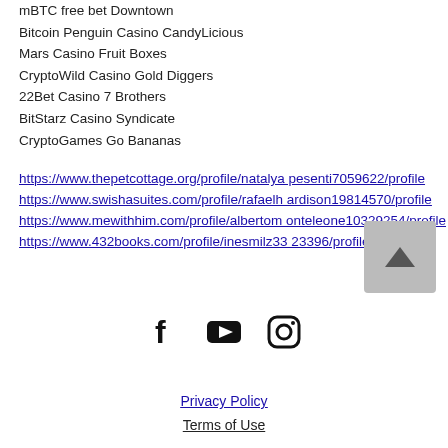mBTC free bet Downtown
Bitcoin Penguin Casino CandyLicious
Mars Casino Fruit Boxes
CryptoWild Casino Gold Diggers
22Bet Casino 7 Brothers
BitStarz Casino Syndicate
CryptoGames Go Bananas
https://www.thepetcottage.org/profile/natalyapesenti7059622/profile
https://www.swishasuites.com/profile/rafaelhardison19814570/profile
https://www.mewithhim.com/profile/albertomonteleone10329254/profile
https://www.432books.com/profile/inesmilz3323396/profile
[Figure (illustration): Back to top button arrow icon in grey square]
[Figure (logo): Social media icons: Facebook, YouTube, Instagram]
Privacy Policy
Terms of Use